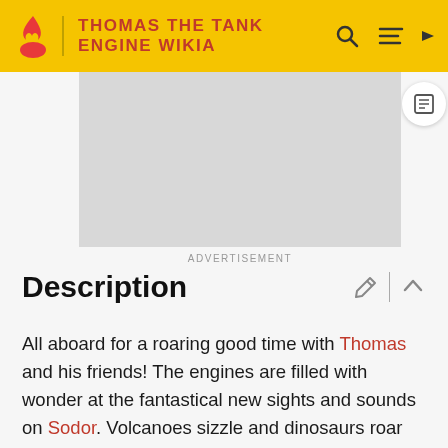THOMAS THE TANK ENGINE WIKIA
[Figure (other): Advertisement placeholder image (grey rectangle)]
ADVERTISEMENT
Description
All aboard for a roaring good time with Thomas and his friends! The engines are filled with wonder at the fantastical new sights and sounds on Sodor. Volcanoes sizzle and dinosaurs roar as the engines help the Earl with a special surprise. Marion experiences some dino daydreams, as Bill and Ben send Timothy on an expedition for a rainbow-coloured truck/colored car. Samson discovers his slip-ups cause confusion and delay, while